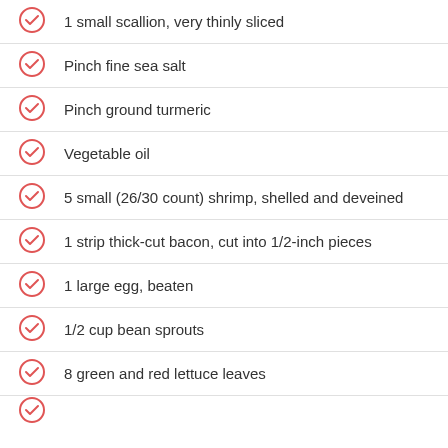1 small scallion, very thinly sliced
Pinch fine sea salt
Pinch ground turmeric
Vegetable oil
5 small (26/30 count) shrimp, shelled and deveined
1 strip thick-cut bacon, cut into 1/2-inch pieces
1 large egg, beaten
1/2 cup bean sprouts
8 green and red lettuce leaves